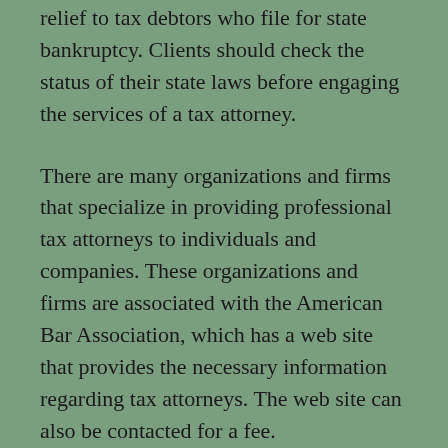relief to tax debtors who file for state bankruptcy. Clients should check the status of their state laws before engaging the services of a tax attorney.
There are many organizations and firms that specialize in providing professional tax attorneys to individuals and companies. These organizations and firms are associated with the American Bar Association, which has a web site that provides the necessary information regarding tax attorneys. The web site can also be contacted for a fee.
Law firms and organizations are not the only providers of legal assistance to individuals and businesses. Clients should also find it easy to